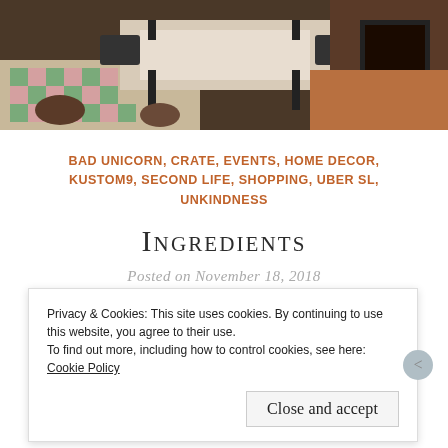[Figure (photo): Interior room photo showing a dining table with chairs, patterned floor tiles in green, pink and beige checkerboard, and a fireplace area. Scene appears to be from a Second Life virtual world environment.]
BAD UNICORN, CRATE, EVENTS, HOME DECOR, KUSTOM9, SECOND LIFE, SHOPPING, UBER SL, UNKINDNESS
Ingredients
Posted on November 18, 2018
I am such a sucker for decor and houses in SL. I took a break from blogging home decor for a few months a
Privacy & Cookies: This site uses cookies. By continuing to use this website, you agree to their use.
To find out more, including how to control cookies, see here: Cookie Policy
Close and accept